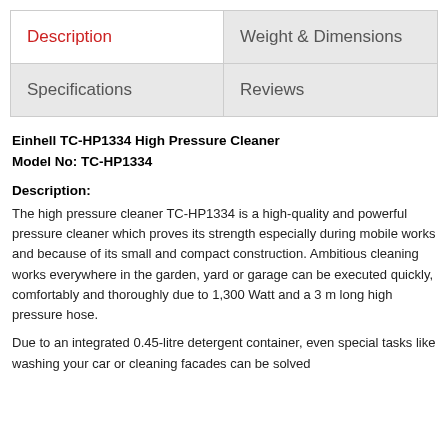Description | Weight & Dimensions | Specifications | Reviews
Einhell TC-HP1334 High Pressure Cleaner
Model No: TC-HP1334
Description:
The high pressure cleaner TC-HP1334 is a high-quality and powerful pressure cleaner which proves its strength especially during mobile works and because of its small and compact construction. Ambitious cleaning works everywhere in the garden, yard or garage can be executed quickly, comfortably and thoroughly due to 1,300 Watt and a 3 m long high pressure hose.
Due to an integrated 0.45-litre detergent container, even special tasks like washing your car or cleaning facades can be solved